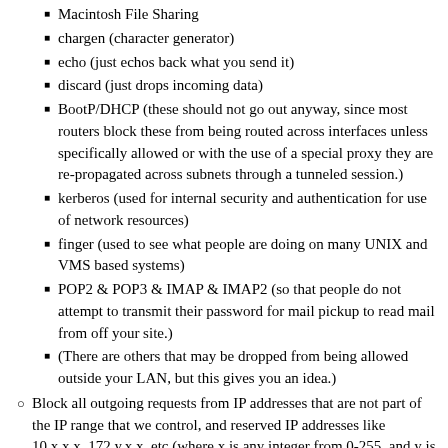Macintosh File Sharing
chargen (character generator)
echo (just echos back what you send it)
discard (just drops incoming data)
BootP/DHCP (these should not go out anyway, since most routers block these from being routed across interfaces unless specifically allowed or with the use of a special proxy they are re-propagated across subnets through a tunneled session.)
kerberos (used for internal security and authentication for use of network resources)
finger (used to see what people are doing on many UNIX and VMS based systems)
POP2 & POP3 & IMAP & IMAP2 (so that people do not attempt to transmit their password for mail pickup to read mail from off your site.)
(There are others that may be dropped from being allowed outside your LAN, but this gives you an idea.)
Block all outgoing requests from IP addresses that are not part of the IP range that we control, and reserved IP addresses like 10.x.x.x, 172.y.x.x, etc (where x is any integer from 0-255, and y is any integer from 16-31.)